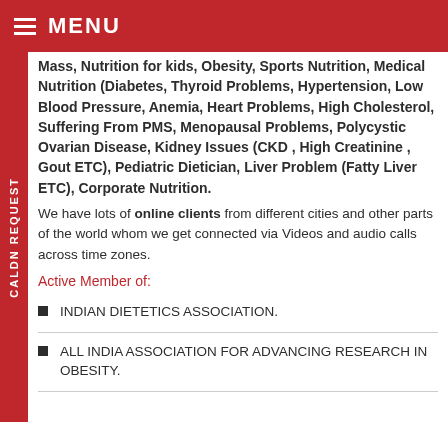MENU
Mass, Nutrition for kids, Obesity, Sports Nutrition, Medical Nutrition (Diabetes, Thyroid Problems, Hypertension, Low Blood Pressure, Anemia, Heart Problems, High Cholesterol, Suffering From PMS, Menopausal Problems, Polycystic Ovarian Disease, Kidney Issues (CKD , High Creatinine , Gout ETC), Pediatric Dietician, Liver Problem (Fatty Liver ETC), Corporate Nutrition.
We have lots of online clients from different cities and other parts of the world whom we get connected via Videos and audio calls across time zones.
Active Member of:
INDIAN DIETETICS ASSOCIATION.
ALL INDIA ASSOCIATION FOR ADVANCING RESEARCH IN OBESITY.